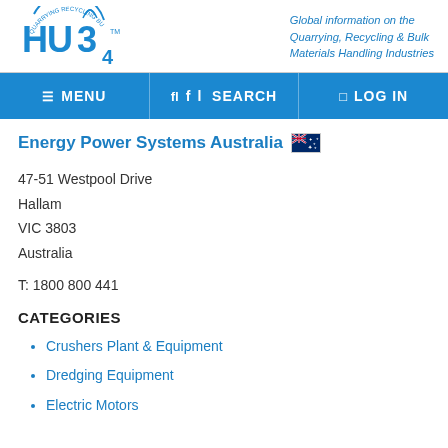[Figure (logo): HUB4 logo with circular arc text 'Quarrying Recycling Bulk Handling' and signal waves]
Global information on the Quarrying, Recycling & Bulk Materials Handling Industries
MENU  SEARCH  LOG IN
Energy Power Systems Australia
47-51 Westpool Drive
Hallam
VIC 3803
Australia
T: 1800 800 441
CATEGORIES
Crushers Plant & Equipment
Dredging Equipment
Electric Motors